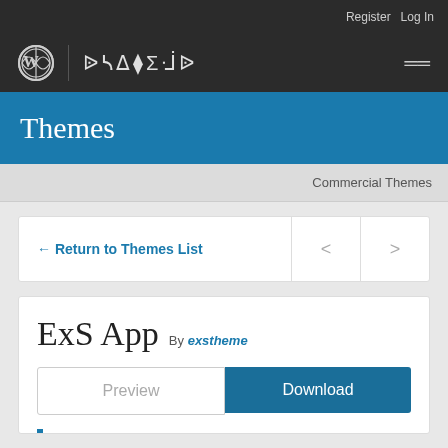Register  Log In
[Figure (logo): WordPress logo and site title navigation bar with hamburger menu]
Themes
Commercial Themes
← Return to Themes List
ExS App By exstheme
Preview  Download